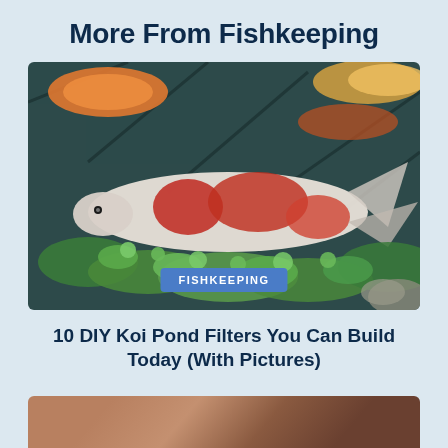More From Fishkeeping
[Figure (photo): Koi fish swimming in a dark pond with green aquatic plants, viewed from above. A large white and red koi fish is prominent in the center.]
FISHKEEPING
10 DIY Koi Pond Filters You Can Build Today (With Pictures)
[Figure (photo): Partial view of a second article image at the bottom of the page, appears to show a close-up of fish or aquatic creature.]